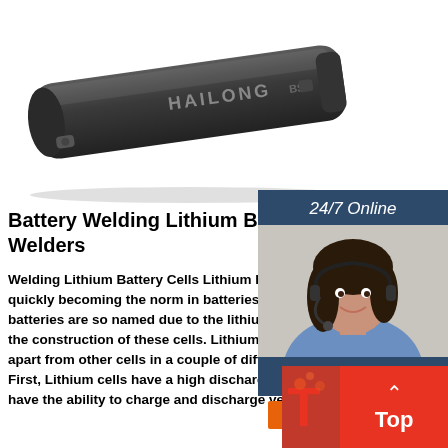[Figure (photo): Black HAILONG branded lithium battery pack for electric bike, elongated shape with lock cylinder, photographed on white background]
Battery Welding Lithium Batteries - Su Welders
Welding Lithium Battery Cells Lithium Ba quickly becoming the norm in batteries. Li batteries are so named due to the lithium a the construction of these cells. Lithium bat apart from other cells in a couple of differ First, Lithium cells have a high discharge d have the ability to charge and discharge ve
[Figure (infographic): 24/7 Online chat widget with customer service agent photo, 'Click here for free chat!' text, and orange QUOTATION button]
[Figure (infographic): Red 'Top' scroll-to-top button with upward arrow chevron in bottom right corner]